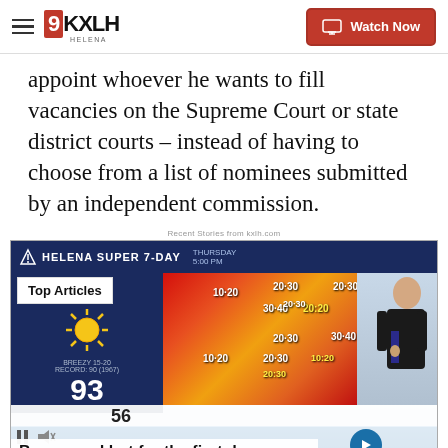9KXLH HELENA | Watch Now
appoint whoever he wants to fill vacancies on the Supreme Court or state district courts – instead of having to choose from a list of nominees submitted by an independent commission.
Recent Stories from kxlh.com
[Figure (screenshot): Weather forecast video screenshot showing Helena Super 7-Day forecast with temperature map showing wind speed numbers (10-20, 20-30, 20-30, 30-40, 20-30, 30-40, 10-20, 20-30, 10-20), THU day with sun icon, temperature 93, BREEZY 15-20, RECORD 90 (1967), progress bar at 56, pause and mute controls, next arrow button, timestamp 5:51, KXLH logo, and 'Top Articles' badge. Bottom bar: Breezy and hot for the first day]